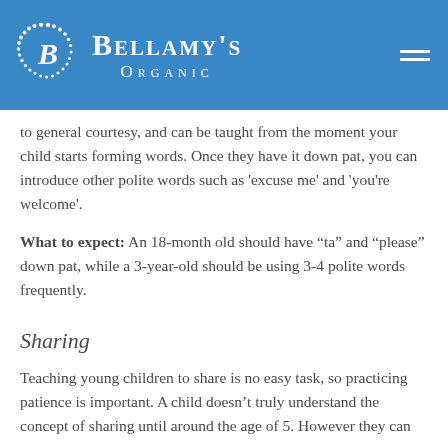[Figure (logo): Bellamy's Organic logo with white B in a circle of dots on blue background, and brand name text]
to general courtesy, and can be taught from the moment your child starts forming words. Once they have it down pat, you can introduce other polite words such as 'excuse me' and 'you're welcome'.
What to expect: An 18-month old should have "ta" and "please" down pat, while a 3-year-old should be using 3-4 polite words frequently.
Sharing
Teaching young children to share is no easy task, so practicing patience is important. A child doesn't truly understand the concept of sharing until around the age of 5. However they can